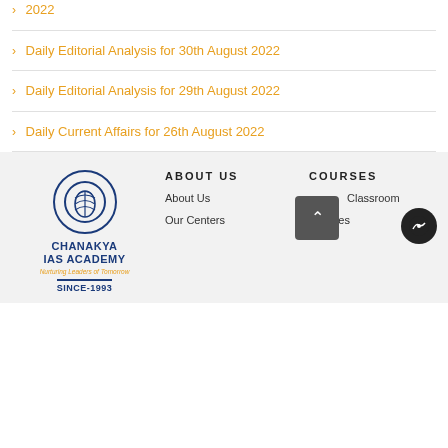2022
Daily Editorial Analysis for 30th August 2022
Daily Editorial Analysis for 29th August 2022
Daily Current Affairs for 26th August 2022
CHANAKYA IAS ACADEMY | Nurturing Leaders of Tomorrow | SINCE-1993 | ABOUT US | About Us | Our Centers | COURSES | Classroom | Courses